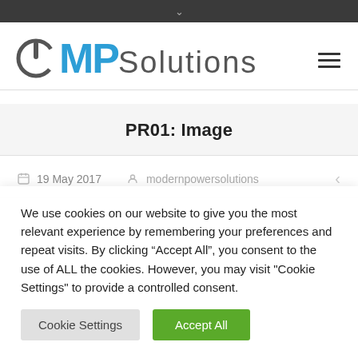MP Solutions – header navigation bar
PR01: Image
19 May 2017  modernpowersolutions
We use cookies on our website to give you the most relevant experience by remembering your preferences and repeat visits. By clicking “Accept All”, you consent to the use of ALL the cookies. However, you may visit "Cookie Settings" to provide a controlled consent.